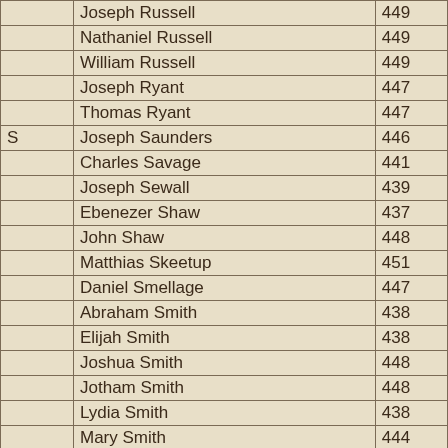|  | Name | Number |
| --- | --- | --- |
|  | Joseph Russell | 449 |
|  | Nathaniel Russell | 449 |
|  | William Russell | 449 |
|  | Joseph Ryant | 447 |
|  | Thomas Ryant | 447 |
| S | Joseph Saunders | 446 |
|  | Charles Savage | 441 |
|  | Joseph Sewall | 439 |
|  | Ebenezer Shaw | 437 |
|  | John Shaw | 448 |
|  | Matthias Skeetup | 451 |
|  | Daniel Smellage | 447 |
|  | Abraham Smith | 438 |
|  | Elijah Smith | 438 |
|  | Joshua Smith | 448 |
|  | Jotham Smith | 448 |
|  | Lydia Smith | 438 |
|  | Mary Smith | 444 |
|  | Abigail Soule | 444 |
|  | Caleb Sprague | 448 |